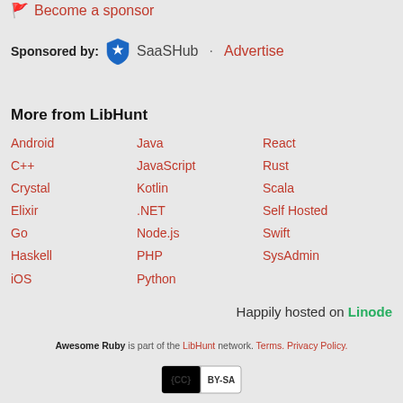🚩 Become a sponsor
Sponsored by: SaaSHub · Advertise
More from LibHunt
Android
C++
Crystal
Elixir
Go
Haskell
iOS
Java
JavaScript
Kotlin
.NET
Node.js
PHP
Python
React
Rust
Scala
Self Hosted
Swift
SysAdmin
Happily hosted on Linode
Awesome Ruby is part of the LibHunt network. Terms. Privacy Policy.
[Figure (logo): Creative Commons CC BY-SA license badge]